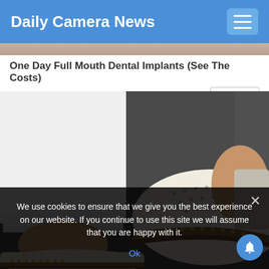Daily Camera News
One Day Full Mouth Dental Implants (See The Costs)
Dental Implants | Search Ads
[Figure (photo): Close-up photo of a person's feet wearing white perforated slip-on shoes with gold stud detailing and brown stripe, with white pants/jeans cuffed above the ankle, on a dark pavement background.]
We use cookies to ensure that we give you the best experience on our website. If you continue to use this site we will assume that you are happy with it.
Ok